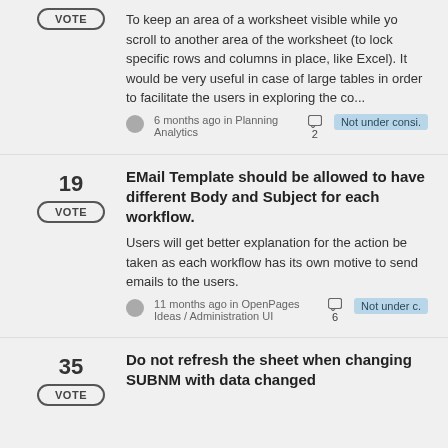To keep an area of a worksheet visible while you scroll to another area of the worksheet (to lock specific rows and columns in place, like Excel). It would be very useful in case of large tables in order to facilitate the users in exploring the co...
6 months ago in Planning Analytics  2  Not under consi.
EMail Template should be allowed to have different Body and Subject for each workflow.
Users will get better explanation for the action be taken as each workflow has its own motive to send emails to the users.
11 months ago in OpenPages Ideas / Administration UI  6  Not under c.
Do not refresh the sheet when changing SUBNM with data changed